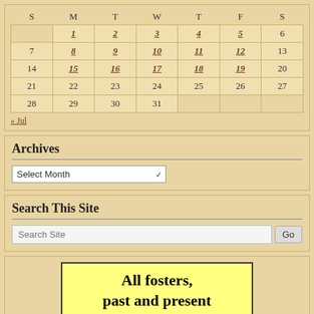| S | M | T | W | T | F | S |
| --- | --- | --- | --- | --- | --- | --- |
|  | 1 | 2 | 3 | 4 | 5 | 6 |
| 7 | 8 | 9 | 10 | 11 | 12 | 13 |
| 14 | 15 | 16 | 17 | 18 | 19 | 20 |
| 21 | 22 | 23 | 24 | 25 | 26 | 27 |
| 28 | 29 | 30 | 31 |  |  |  |
« Jul
Archives
Select Month
Search This Site
Search Site | Go
All fosters, past and present